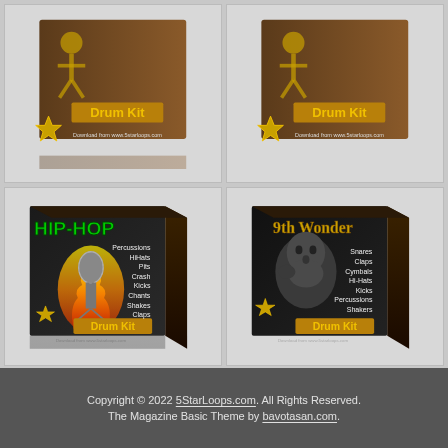[Figure (illustration): Drum Kit product box top-left (partial, cut off at top)]
[Figure (illustration): Drum Kit product box top-right (partial, cut off at top)]
[Figure (illustration): Hip-Hop Drum Kit product box with microphone graphic and list: Percussions, HiHats, Pits, Crash, Kicks, Chants, Shakes, Claps]
[Figure (illustration): 9th Wonder Drum Kit product box with man's face and list: Snares, Claps, Cymbals, Hi-Hats, Kicks, Percussions, Shakers]
Copyright © 2022 5StarLoops.com. All Rights Reserved. The Magazine Basic Theme by bavotasan.com.